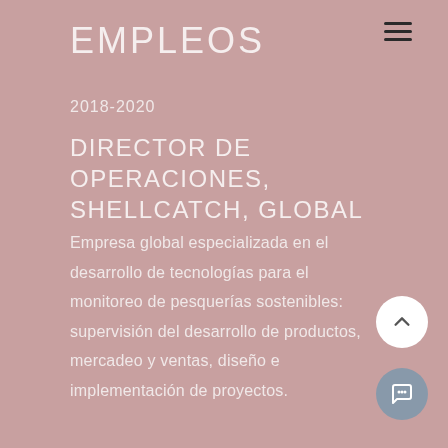EMPLEOS
2018-2020
DIRECTOR DE OPERACIONES, SHELLCATCH, GLOBAL
Empresa global especializada en el desarrollo de tecnologías para el monitoreo de pesquerías sostenibles: supervisión del desarrollo de productos, mercadeo y ventas, diseño e implementación de proyectos.